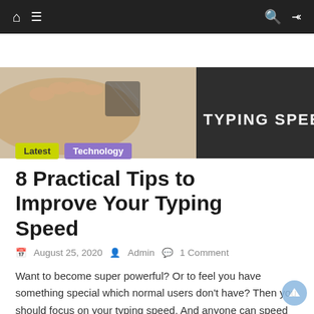Navigation bar with home, menu, search, and shuffle icons
[Figure (photo): Hero banner image showing a person's hand near a keyboard with text 'TYPING SPEED' overlaid on the right side]
Latest   Technology
8 Practical Tips to Improve Your Typing Speed
August 25, 2020   Admin   1 Comment
Want to become super powerful? Or to feel you have something special which normal users don't have? Then you should focus on your typing speed. And anyone can speed up their typing speed and it will be beneficial for their work for sure. So, in this article we will discuss the benefits of improving